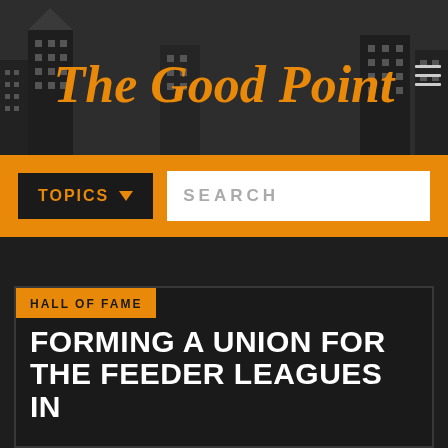[Figure (logo): The Good Point website logo in orange cursive script over a dark city skyline background]
TOPICS  SEARCH
HALL OF FAME
FORMING A UNION FOR THE FEEDER LEAGUES IN